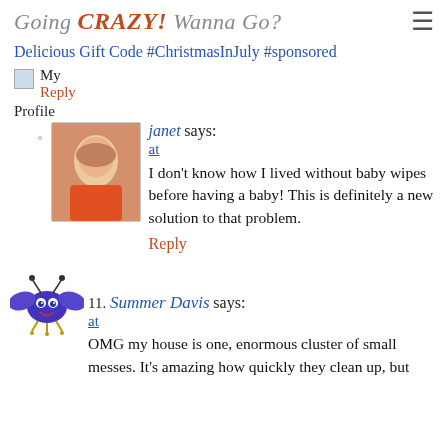Going CRAZY! Wanna Go?
Delicious Gift Code #ChristmasInJuly #sponsored
My
Reply
Profile
[Figure (photo): Profile photo of janet — woman in orange shirt]
janet says:
at
I don't know how I lived without baby wipes before having a baby! This is definitely a new solution to that problem.
Reply
[Figure (illustration): Blue cartoon monster/butterfly illustration]
11. Summer Davis says:
at
OMG my house is one, enormous cluster of small messes. It's amazing how quickly they clean up, but